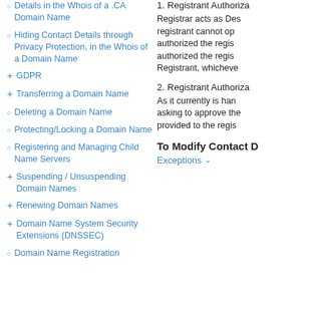Details in the Whois of a .CA Domain Name
Hiding Contact Details through Privacy Protection, in the Whois of a Domain Name
GDPR
Transferring a Domain Name
Deleting a Domain Name
Protecting/Locking a Domain Name
Registering and Managing Child Name Servers
Suspending / Unsuspending Domain Names
Renewing Domain Names
Domain Name System Security Extensions (DNSSEC)
Domain Name Registration
1. Registrant Authoriza...
Registrar acts as Des... registrant cannot op... authorized the regis... authorized the regis... Registrant, whicheve
2. Registrant Authoriza...
As it currently is han... asking to approve the... provided to the regis...
To Modify Contact D...
Exceptions